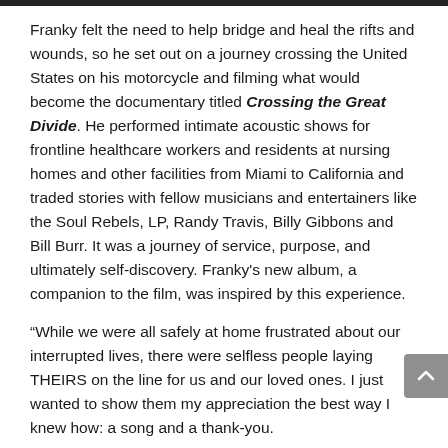Franky felt the need to help bridge and heal the rifts and wounds, so he set out on a journey crossing the United States on his motorcycle and filming what would become the documentary titled Crossing the Great Divide. He performed intimate acoustic shows for frontline healthcare workers and residents at nursing homes and other facilities from Miami to California and traded stories with fellow musicians and entertainers like the Soul Rebels, LP, Randy Travis, Billy Gibbons and Bill Burr. It was a journey of service, purpose, and ultimately self-discovery. Franky's new album, a companion to the film, was inspired by this experience.
“While we were all safely at home frustrated about our interrupted lives, there were selfless people laying THEIRS on the line for us and our loved ones. I just wanted to show them my appreciation the best way I knew how: a song and a thank-you.